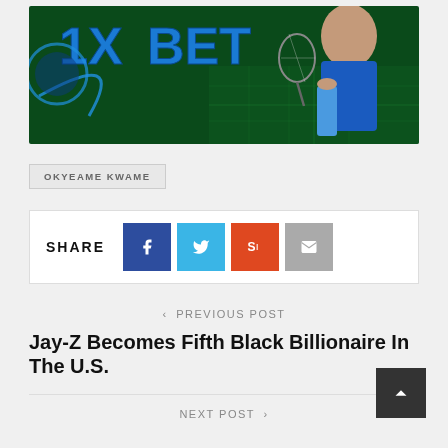[Figure (photo): 1XBET sports betting banner with logo on left and female tennis player on right against dark green background]
OKYEAME KWAME
SHARE
< PREVIOUS POST
Jay-Z Becomes Fifth Black Billionaire In The U.S.
NEXT POST >